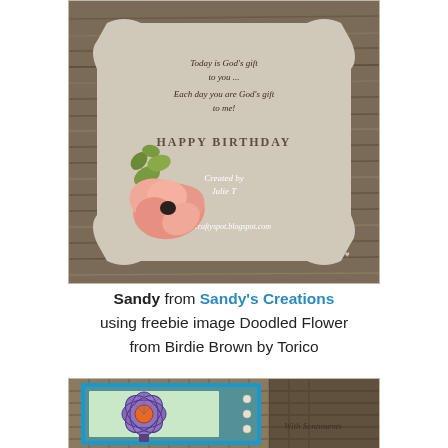[Figure (photo): Handmade birthday card with wood grain background, cream fancy-label shaped inset with italic verse 'Today is God's gift to you... Each day you are God's gift to me!', 'Happy Birthday' text, 'Created by Julie T', 'juliescraftyspot.blogspot.com', and a pink rose flower with green leaves in the lower left corner.]
Sandy from Sandy's Creations using freebie image Doodled Flower from Birdie Brown by Torico
[Figure (photo): Handmade card with blue and teal layers, purple doodled flower with orange center, and 'With Sentiments' script text on the right side, with pearl brad embellishments.]